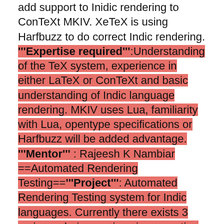add support to Inidic rendering to ConTeXt MKIV. XeTeX is using Harfbuzz to do correct Indic rendering. '''Expertise required''':Understanding of the TeX system, experience in either LaTeX or ConTeXt and basic understanding of Indic language rendering. MKIV uses Lua, familiarity with Lua, opentype specifications or Harfbuzz will be added advantage. '''Mentor''' : Rajeesh K Nambiar ==Automated Rendering Testing=='''Project''': Automated Rendering Testing system for Indic languages. Currently there exists 3 main rendering engines in computing world - Uniscribe of Microsoft, CoreText (Apple Advance Typography - AAT) of Apple and Harfbuzz for *nix systems. The Opentype font specification is maintained by Microsoft and implemented in Uniscribe, which is used as baseline for Harfbuzz. At present, there is no automated mechanism to determine if Harfbuzz is rendering complex Indic text correctly or not - someone expert in relevant language has to manually inspect the output from hb-view. The project aim is to identify and implement an automated method to test the rendering.One method to do this might be to check the